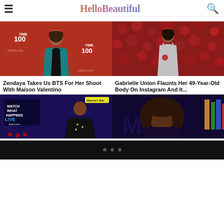HelloBeautiful
[Figure (photo): Zendaya at Time 100 event in teal/black dress against red Cadillac backdrop]
Zendaya Takes Us BTS For Her Shoot With Maison Valentino
[Figure (photo): Gabrielle Union in silver dress against red floral wall backdrop]
Gabrielle Union Flaunts Her 49-Year-Old Body On Instagram And It...
[Figure (photo): Lizzo on Watch What Happens Live with Andy Cohen]
[Figure (photo): Woman on dark TV show set]